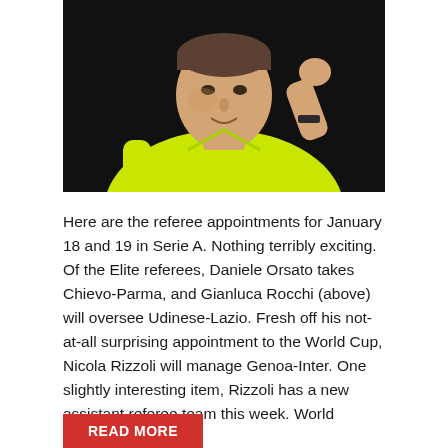[Figure (photo): A referee in a bright yellow/green jersey raising his fist, shown from the chest up against a dark background]
Here are the referee appointments for January 18 and 19 in Serie A. Nothing terribly exciting. Of the Elite referees, Daniele Orsato takes Chievo-Parma, and Gianluca Rocchi (above) will oversee Udinese-Lazio. Fresh off his not-at-all surprising appointment to the World Cup, Nicola Rizzoli will manage Genoa-Inter. One slightly interesting item, Rizzoli has a new assistant referee team this week. World
READ MORE